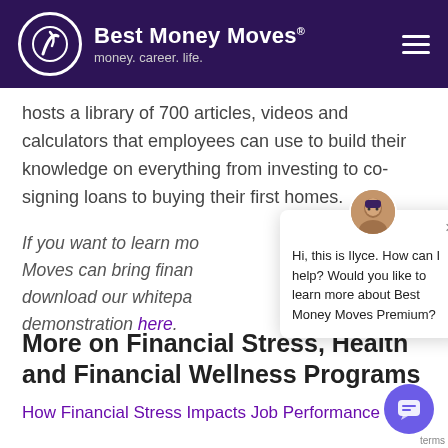Best Money Moves® money. career. life.
hosts a library of 700 articles, videos and calculators that employees can use to build their knowledge on everything from investing to co-signing loans to buying their first homes.
If you want to learn more about how Best Money Moves can bring financial wellness to your team, download our whitepaper or schedule a free demonstration here.
[Figure (screenshot): Chat popup with avatar photo of Ilyce, showing message: Hi, this is Ilyce. How can I help? Would you like to learn more about Best Money Moves Premium?]
More on Financial Stress, Health and Financial Wellness Programs
How Financial Stress Impacts Job Performance